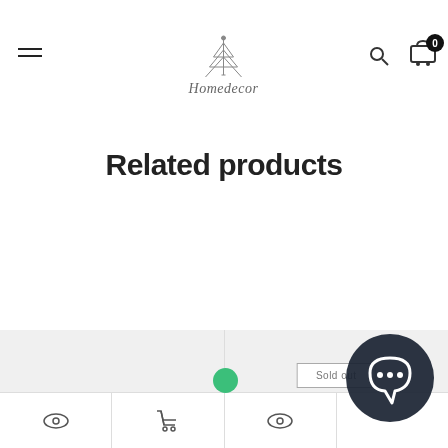Homedecor navigation bar with hamburger menu, logo, search and cart icons
Related products
[Figure (screenshot): Two product cards on a light grey background. Left card has a green dot indicator. Right card shows a 'Sold out' badge. Each card has an eye icon and cart icon at the bottom.]
1 Product Copper Copper Knife Box
11Box Gold Moss Blue Cord